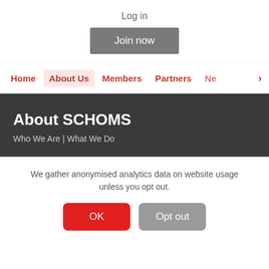Log in
Join now
Home | About Us | Members | Partners | Ne >
About SCHOMS
Who We Are | What We Do
We gather anonymised analytics data on website usage unless you opt out.
OK
Opt out